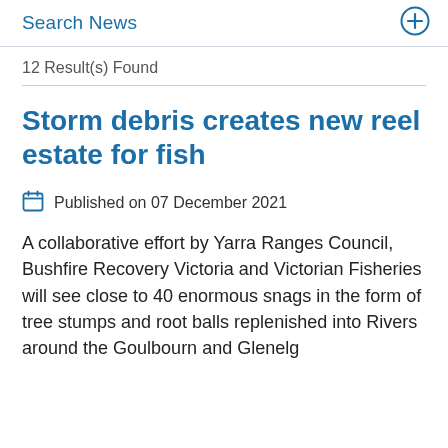Search News
12 Result(s) Found
Storm debris creates new reel estate for fish
Published on 07 December 2021
A collaborative effort by Yarra Ranges Council, Bushfire Recovery Victoria and Victorian Fisheries will see close to 40 enormous snags in the form of tree stumps and root balls replenished into Rivers around the Goulbourn and Glenelg